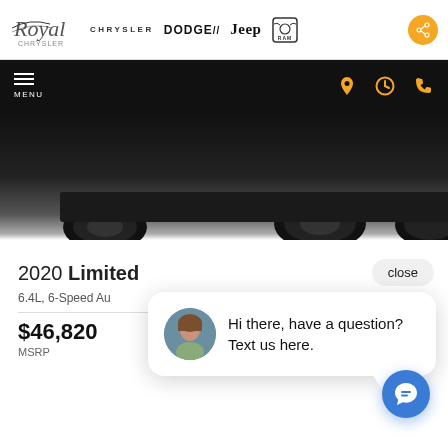[Figure (logo): Royal Chrysler dealership logo with script text]
[Figure (logo): Chrysler brand logo text]
[Figure (logo): Dodge brand logo text]
[Figure (logo): Jeep brand logo text]
[Figure (logo): RAM brand logo with ram head icon]
[Figure (screenshot): Website navigation bar with MENU button and yellow location, clock, and phone icons]
[Figure (photo): Bottom portion of a dark colored vehicle showing wheels and undercarriage on dark background]
2020 Limited
6.4L, 6-Speed Au
$46,820
MSRP
[Figure (screenshot): Chat popup with woman avatar and text: Hi there, have a question? Text us here.]
[Figure (screenshot): Blue chat floating action button with speech bubble icon]